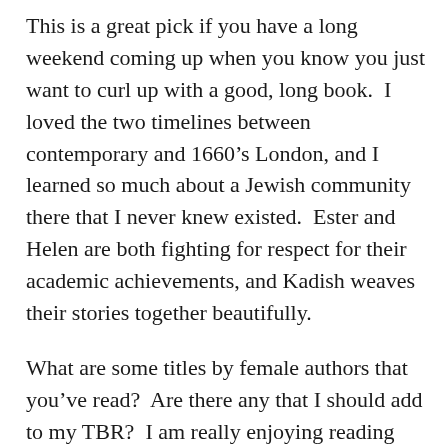This is a great pick if you have a long weekend coming up when you know you just want to curl up with a good, long book.  I loved the two timelines between contemporary and 1660’s London, and I learned so much about a Jewish community there that I never knew existed.  Ester and Helen are both fighting for respect for their academic achievements, and Kadish weaves their stories together beautifully.
What are some titles by female authors that you’ve read?  Are there any that I should add to my TBR?  I am really enjoying reading